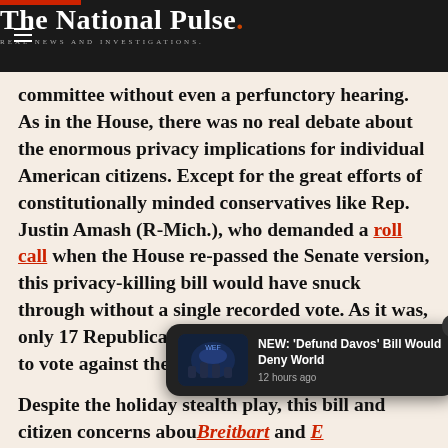The National Pulse. REAL NEWS AND INVESTIGATIONS.
committee without even a perfunctory hearing. As in the House, there was no real debate about the enormous privacy implications for individual American citizens. Except for the great efforts of constitutionally minded conservatives like Rep. Justin Amash (R-Mich.), who demanded a roll call when the House re-passed the Senate version, this privacy-killing bill would have snuck through without a single recorded vote. As it was, only 17 Republicans had the wisdom and courage to vote against the bill.
Despite the holiday stealth play, this bill and citizen concerns about... Breitbart and E...
As I discussed at Townhall, here are some details... ut
[Figure (screenshot): Notification popup: NEW: 'Defund Davos' Bill Would Deny World — 12 hours ago, with thumbnail image]